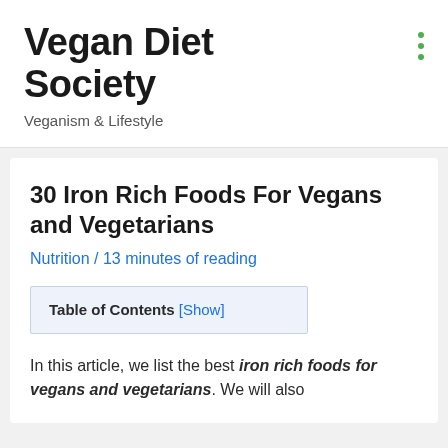Vegan Diet Society
Veganism & Lifestyle
30 Iron Rich Foods For Vegans and Vegetarians
Nutrition / 13 minutes of reading
Table of Contents [Show]
In this article, we list the best iron rich foods for vegans and vegetarians. We will also